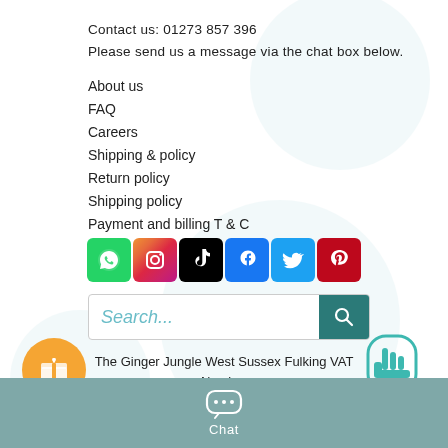Contact us: 01273 857 396
Please send us a message via the chat box below.
About us
FAQ
Careers
Shipping & policy
Return policy
Shipping policy
Payment and billing T & C
[Figure (infographic): Row of 6 social media icon buttons: WhatsApp (green), Instagram (gradient), TikTok (black), Facebook (blue), Twitter (light blue), Pinterest (red)]
[Figure (screenshot): Search input bar with placeholder 'Search...' in teal italic and a teal search button with magnifier icon]
The Ginger Jungle West Sussex Fulking VAT Number 371449388
[Figure (illustration): Orange circle gift/reward button with gift box icon, bottom left corner]
Chat